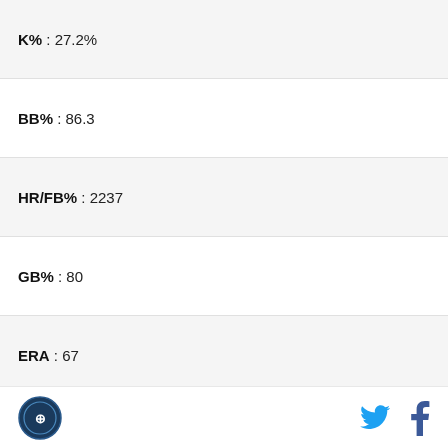| K% | 27.2% |
| BB% | 86.3 |
| HR/FB% | 2237 |
| GB% | 80 |
| ERA | 67 |
| FIP | 84 |
| IP | Changeup |
| K% | 14.7% |
| BB% | 84.2 |
| HR/FB% | 1628 |
| GB% | 84 |
Logo | Twitter | Facebook